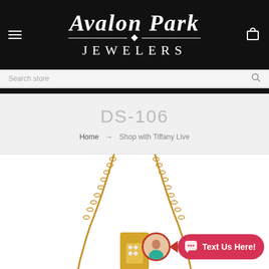[Figure (logo): Avalon Park Jewelers logo on black background with hamburger menu icon on left and shopping bag icon on right]
Search store
DS-106
Home → Shop with Tiffany Live
[Figure (photo): Gold chain necklace with pendant, shown against white background. A chat widget overlay shows a woman in teal with a 'Text Us Here!' button in pink/red.]